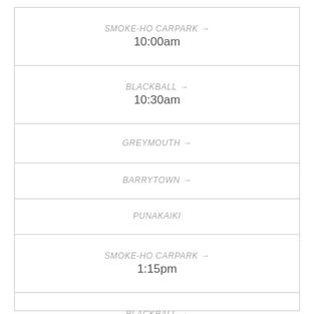| SMOKE-HO CARPARK → | 10:00am |
| BLACKBALL → | 10:30am |
| GREYMOUTH → |  |
| BARRYTOWN → |  |
| PUNAKAIKI |  |
| SMOKE-HO CARPARK → | 1:15pm |
| BLACKBALL → | 1:30pm |
| GREYMOUTH → |  |